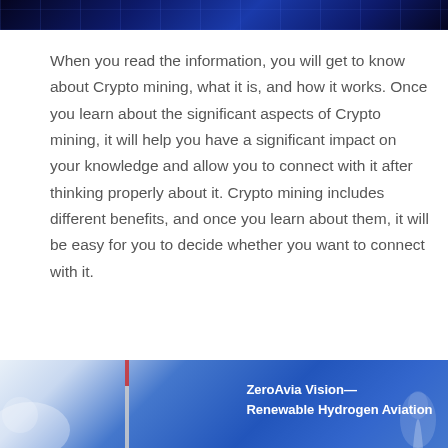[Figure (photo): Dark blue background image showing lights and a hallway or event space with blue tones]
When you read the information, you will get to know about Crypto mining, what it is, and how it works. Once you learn about the significant aspects of Crypto mining, it will help you have a significant impact on your knowledge and allow you to connect with it after thinking properly about it. Crypto mining includes different benefits, and once you learn about them, it will be easy for you to decide whether you want to connect with it.
...
Read More
[Figure (photo): ZeroAvia Vision — Renewable Hydrogen Aviation image with blue background and tower/aircraft]